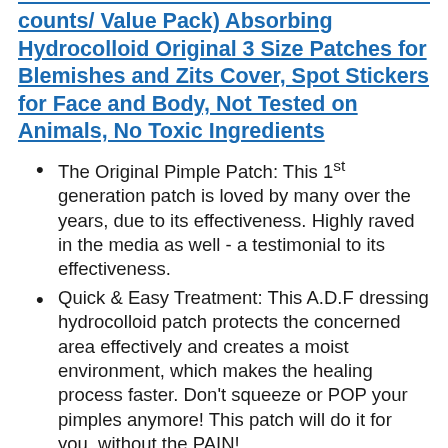counts/ Value Pack) Absorbing Hydrocolloid Original 3 Size Patches for Blemishes and Zits Cover, Spot Stickers for Face and Body, Not Tested on Animals, No Toxic Ingredients
The Original Pimple Patch: This 1st generation patch is loved by many over the years, due to its effectiveness. Highly raved in the media as well - a testimonial to its effectiveness.
Quick & Easy Treatment: This A.D.F dressing hydrocolloid patch protects the concerned area effectively and creates a moist environment, which makes the healing process faster. Don't squeeze or POP your pimples anymore! This patch will do it for you, without the PAIN!